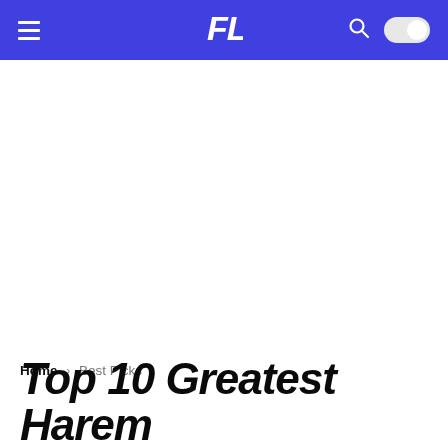FL — navigation bar with hamburger menu, logo, search, and dark mode toggle
Home › Best Picks
Top 10 Greatest Harem